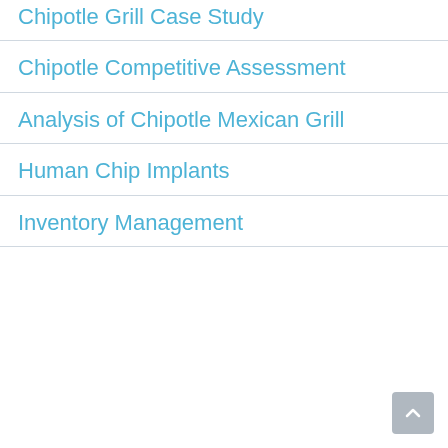Chipotle Grill Case Study
Chipotle Competitive Assessment
Analysis of Chipotle Mexican Grill
Human Chip Implants
Inventory Management